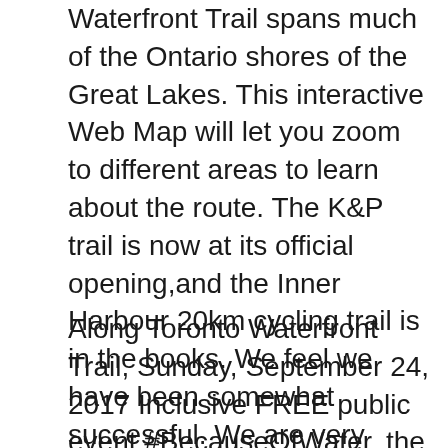Waterfront Trail spans much of the Ontario shores of the Great Lakes. This interactive Web Map will let you zoom to different areas to learn about the route. The K&P trail is now at its official opening,and the Inner Harbour 20km cycling trail is in the books. We feel we have been somewhat successful. We are very happy with what has happened so far. We feel we have been somewhat successful.
Along Toronto Waterfront Trail, Sunday, September 24, 2017 Inclusive FREE public event #BecauseOfWater, the first Great Lakes Water Walk concludes at Marilyn Bell Park with respected Anishinabee, Canadian, and Elder...